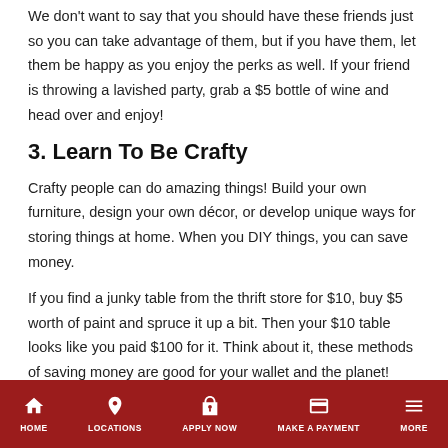We don't want to say that you should have these friends just so you can take advantage of them, but if you have them, let them be happy as you enjoy the perks as well. If your friend is throwing a lavished party, grab a $5 bottle of wine and head over and enjoy!
3. Learn To Be Crafty
Crafty people can do amazing things! Build your own furniture, design your own décor, or develop unique ways for storing things at home. When you DIY things, you can save money.
If you find a junky table from the thrift store for $10, buy $5 worth of paint and spruce it up a bit. Then your $10 table looks like you paid $100 for it. Think about it, these methods of saving money are good for your wallet and the planet!
HOME | LOCATIONS | APPLY NOW | MAKE A PAYMENT | MORE